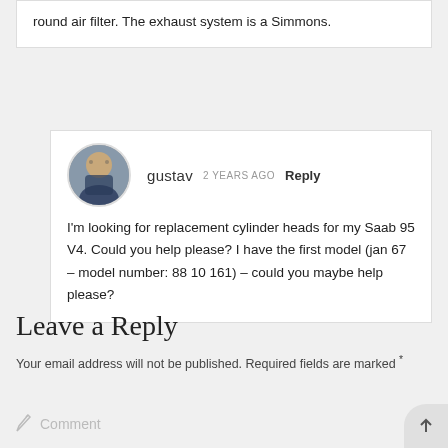round air filter. The exhaust system is a Simmons.
I'm looking for replacement cylinder heads for my Saab 95 V4. Could you help please? I have the first model (jan 67 – model number: 88 10 161) – could you maybe help please?
Leave a Reply
Your email address will not be published. Required fields are marked *
Comment